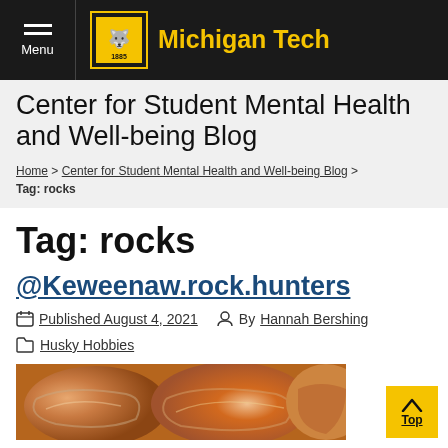Michigan Tech — Menu
Center for Student Mental Health and Well-being Blog
Home > Center for Student Mental Health and Well-being Blog > Tag: rocks
Tag: rocks
@Keweenaw.rock.hunters
Published August 4, 2021 By Hannah Bershing
Husky Hobbies
[Figure (photo): Close-up photo of polished agate/rock stones with banded patterns in orange, red, brown, and cream colors]